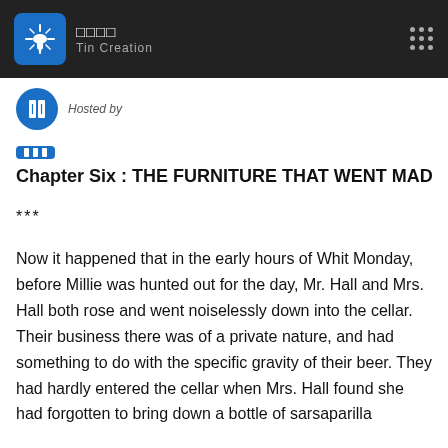□□□□ Tin Creation
Hosted by
Chapter Six : THE FURNITURE THAT WENT MAD
***
Now it happened that in the early hours of Whit Monday, before Millie was hunted out for the day, Mr. Hall and Mrs. Hall both rose and went noiselessly down into the cellar. Their business there was of a private nature, and had something to do with the specific gravity of their beer. They had hardly entered the cellar when Mrs. Hall found she had forgotten to bring down a bottle of sarsaparilla